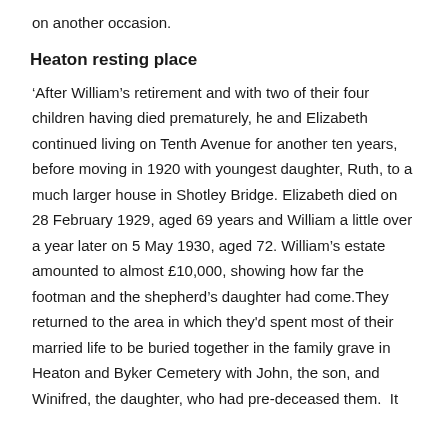on another occasion.
Heaton resting place
‘After William’s retirement and with two of their four children having died prematurely, he and Elizabeth continued living on Tenth Avenue for another ten years, before moving in 1920 with youngest daughter, Ruth, to a much larger house in Shotley Bridge. Elizabeth died on 28 February 1929, aged 69 years and William a little over a year later on 5 May 1930, aged 72. William’s estate amounted to almost £10,000, showing how far the footman and the shepherd’s daughter had come.They returned to the area in which they'd spent most of their married life to be buried together in the family grave in Heaton and Byker Cemetery with John, the son, and Winifred, the daughter, who had pre-deceased them. It